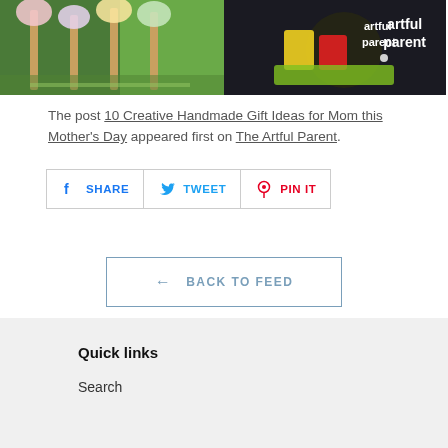[Figure (photo): Two photos side by side: left shows craft sticks on green grass background, right shows colorful illustration with 'artful parent' text on dark background]
The post 10 Creative Handmade Gift Ideas for Mom this Mother's Day appeared first on The Artful Parent.
SHARE  TWEET  PIN IT
← BACK TO FEED
Quick links
Search